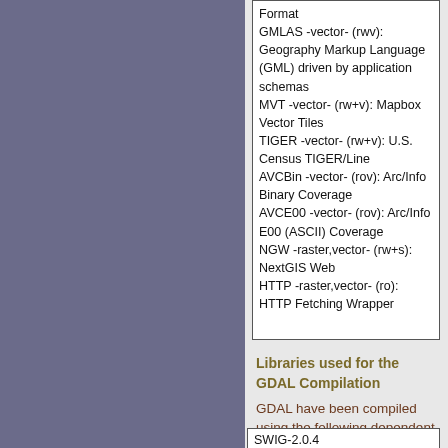Format
GMLAS -vector- (rwv): Geography Markup Language (GML) driven by application schemas
MVT -vector- (rw+v): Mapbox Vector Tiles
TIGER -vector- (rw+v): U.S. Census TIGER/Line
AVCBin -vector- (rov): Arc/Info Binary Coverage
AVCE00 -vector- (rov): Arc/Info E00 (ASCII) Coverage
NGW -raster,vector- (rw+s): NextGIS Web
HTTP -raster,vector- (ro): HTTP Fetching Wrapper
Libraries used for the GDAL Compilation
GDAL have been compiled using the following dependent libraries
SWIG-2.0.4
Python27-AMD64
geos-3.4